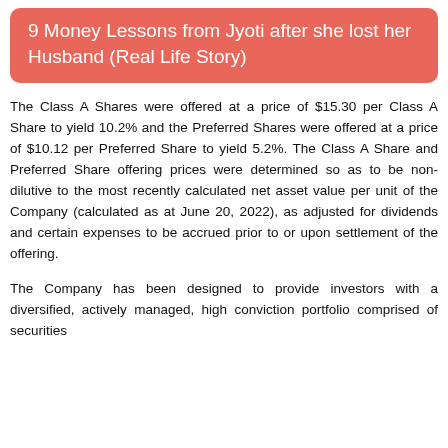9 Money Lessons from Jyoti after she lost her Husband (Real Life Story)
The Class A Shares were offered at a price of $15.30 per Class A Share to yield 10.2% and the Preferred Shares were offered at a price of $10.12 per Preferred Share to yield 5.2%. The Class A Share and Preferred Share offering prices were determined so as to be non-dilutive to the most recently calculated net asset value per unit of the Company (calculated as at June 20, 2022), as adjusted for dividends and certain expenses to be accrued prior to or upon settlement of the offering.
The Company has been designed to provide investors with a diversified, actively managed, high conviction portfolio comprised of securities